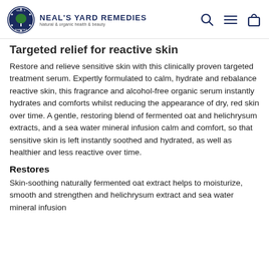Neal's Yard Remedies — Natural & organic health & beauty
Targeted relief for reactive skin
Restore and relieve sensitive skin with this clinically proven targeted treatment serum. Expertly formulated to calm, hydrate and rebalance reactive skin, this fragrance and alcohol-free organic serum instantly hydrates and comforts whilst reducing the appearance of dry, red skin over time. A gentle, restoring blend of fermented oat and helichrysum extracts, and a sea water mineral infusion calm and comfort, so that sensitive skin is left instantly soothed and hydrated, as well as healthier and less reactive over time.
Restores
Skin-soothing naturally fermented oat extract helps to moisturize, smooth and strengthen and helichrysum extract and sea water mineral infusion